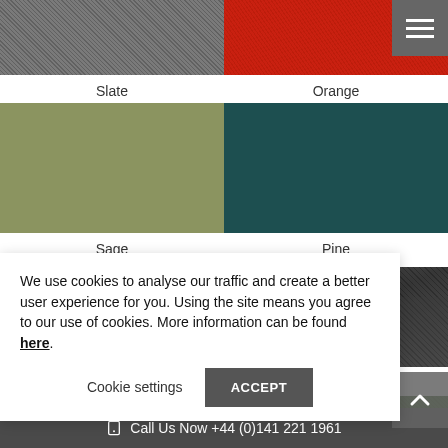[Figure (photo): Slate grey fabric texture swatch]
Slate
[Figure (photo): Red/orange fabric texture swatch]
Orange
[Figure (illustration): Sage green flat color swatch]
Sage
[Figure (illustration): Pine dark teal flat color swatch]
Pine
[Figure (photo): Light grey fabric texture swatch]
[Figure (photo): Slate/Grey fabric texture swatch (two-tone)]
Slate/Grey
We use cookies to analyse our traffic and create a better user experience for you. Using the site means you agree to our use of cookies. More information can be found here.
Cookie settings
ACCEPT
Call Us Now +44 (0)141 221 1961